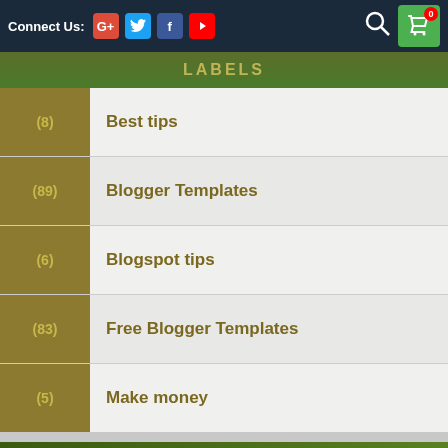Connect Us: G+ Twitter Facebook YouTube
LABELS
(8) Best tips
(89) Blogger Templates
(6) Blogspot tips
(83) Free Blogger Templates
(5) Make money
TOP MOST VIEW POSTS
Make money effectively by uploading files with Katfile
Healthy Blogger Template